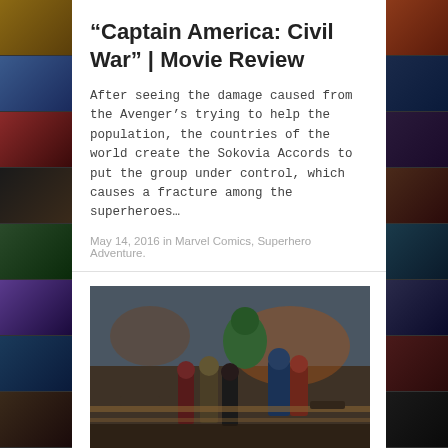“Captain America: Civil War” | Movie Review
After seeing the damage caused from the Avenger’s trying to help the population, the countries of the world create the Sokovia Accords to put the group under control, which causes a fracture among the superheroes…
May 14, 2016 in Marvel Comics, Superhero Adventure.
[Figure (photo): A group of Avengers superheroes standing in a battle-damaged area, including Hulk, Captain America, Iron Man, Black Widow, and others.]